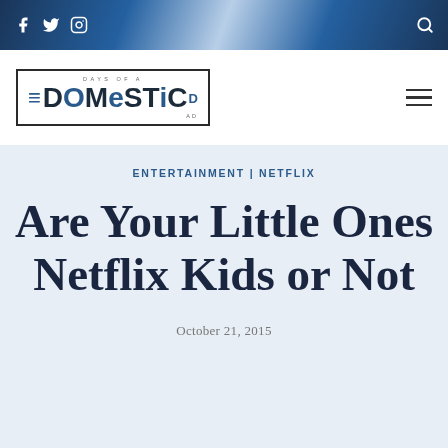Days of a Domestic Dad - social icons and navigation bar
[Figure (logo): Days of a Domestic Dad blog logo with border box]
ENTERTAINMENT | NETFLIX
Are Your Little Ones Netflix Kids or Not
October 21, 2015